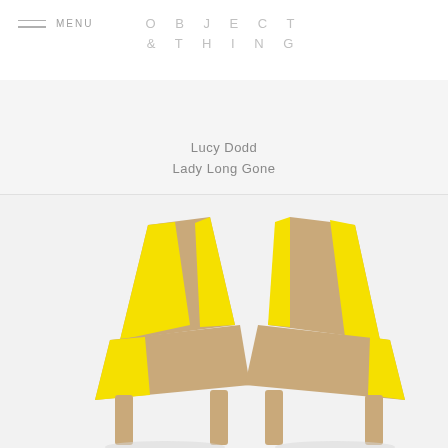OBJECT & THING
MENU
Lucy Dodd
Lady Long Gone
[Figure (photo): Two chairs with geometric yellow and tan/burlap upholstery pattern, photographed against a light gray background. The chairs face slightly inward toward each other, showing bold diagonal yellow stripes on the fabric.]